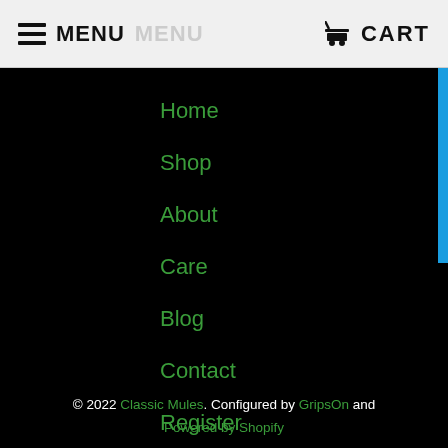MENU MENU  CART
Home
Shop
About
Care
Blog
Contact
Register
[Figure (infographic): Social media icons: Twitter, Facebook, Pinterest, Instagram, Email]
© 2022 Classic Mules. Configured by GripsOn and Powered by Shopify